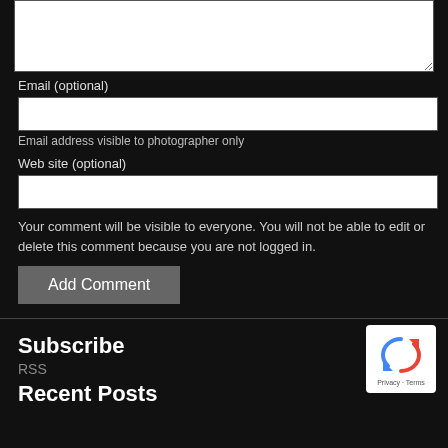[Figure (screenshot): Textarea form field (comment input box, partially visible at top)]
Email (optional)
[Figure (screenshot): Email input text field]
Email address visible to photographer only
Web site (optional)
[Figure (screenshot): Web site URL input text field]
Your comment will be visible to everyone. You will not be able to edit or delete this comment because you are not logged in.
[Figure (screenshot): Add Comment button]
Subscribe
RSS
Recent Posts
[Figure (logo): reCAPTCHA badge with Privacy and Terms links]